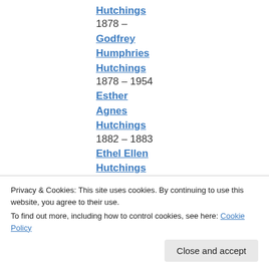Hutchings
1878 –
Godfrey Humphries Hutchings
1878 – 1954
Esther Agnes Hutchings
1882 – 1883
Ethel Ellen Hutchings
1884 – 1963
Privacy & Cookies: This site uses cookies. By continuing to use this website, you agree to their use.
To find out more, including how to control cookies, see here: Cookie Policy